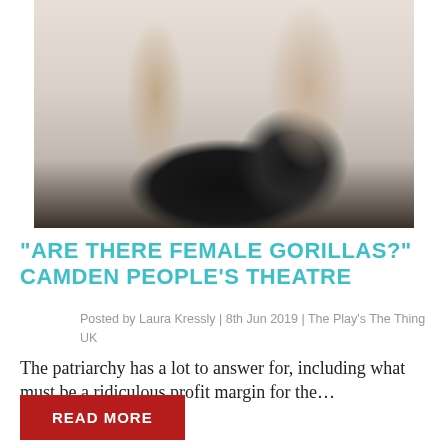[Figure (photo): Two figures standing against a white wall. Left figure wears black lingerie with garter belt and stockings, holding a gorilla mask. Right figure wears black lace bra and underwear. Both figures are cropped at the neck. A black gorilla/animal mask is visible on the right.]
"ARE THERE FEMALE GORILLAS?" CAMDEN PEOPLE'S THEATRE
Posted by Laura Kressly | 8th Jun 2019 | The Play's The Thing UK
The patriarchy has a lot to answer for, including what must be a ridiculous profit margin for the...
READ MORE